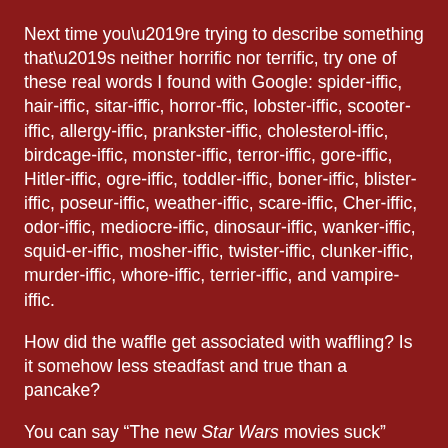Next time you're trying to describe something that's neither horrific nor terrific, try one of these real words I found with Google: spider-iffic, hair-iffic, sitar-iffic, horror-ffic, lobster-iffic, scooter-iffic, allergy-iffic, prankster-iffic, cholesterol-iffic, birdcage-iffic, monster-iffic, terror-iffic, gore-iffic, Hitler-iffic, ogre-iffic, toddler-iffic, boner-iffic, blister-iffic, poseur-iffic, weather-iffic, scare-iffic, Cher-iffic, odor-iffic, mediocre-iffic, dinosaur-iffic, wanker-iffic, squid-er-iffic, mosher-iffic, twister-iffic, clunker-iffic, murder-iffic, whore-iffic, terrier-iffic, and vampire-iffic.
How did the waffle get associated with waffling? Is it somehow less steadfast and true than a pancake?
You can say “The new Star Wars movies suck” around more people than you can say “The new Star Wars movies blow,” even though “suck” and “blow” have about the same meaning. I guess “suck,” because it’s so popular, has been more thoroughly rehabilitated and drained of filth. It also doesn’t help that “blow” is one half of “blow job”—that’s just a little too reminiscent of what the phrase actually means.